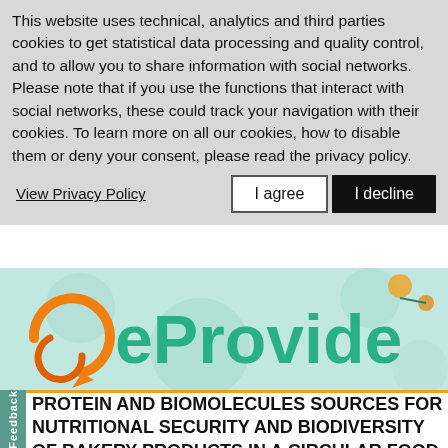This website uses technical, analytics and third parties cookies to get statistical data processing and quality control, and to allow you to share information with social networks. Please note that if you use the functions that interact with social networks, these could track your navigation with their cookies. To learn more on all our cookies, how to disable them or deny your consent, please read the privacy policy.
View Privacy Policy
I agree
I decline
[Figure (logo): eProvide project logo on a light teal/green background with molecular/scientific imagery. Large teal text reads 'eProvide' with an orange circular arrow logo on the left.]
PROTEIN AND BIOMOLECULES SOURCES FOR NUTRITIONAL SECURITY AND BIODIVERSITY OF BAKERY PRODUCTS IN A CIRCULAR FOOD